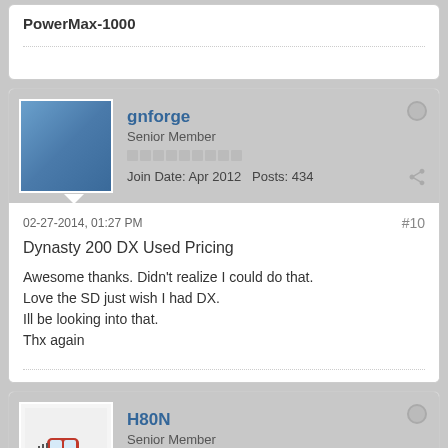PowerMax-1000
gnforge
Senior Member
Join Date: Apr 2012  Posts: 434
02-27-2014, 01:27 PM
#10
Dynasty 200 DX Used Pricing
Awesome thanks. Didn't realize I could do that.
Love the SD just wish I had DX.
Ill be looking into that.
Thx again
H80N
Senior Member
Join Date: Nov 2003  Posts: 5763